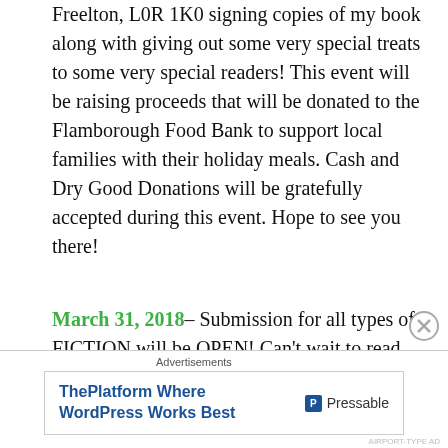Freelton, L0R 1K0 signing copies of my book along with giving out some very special treats to some very special readers! This event will be raising proceeds that will be donated to the Flamborough Food Bank to support local families with their holiday meals. Cash and Dry Good Donations will be gratefully accepted during this event. Hope to see you there!
March 31, 2018– Submission for all types of FICTION will be OPEN! Can't wait to read your work, I'm looking forward to some fresh ideas. Please remember to follow the guidelines which can be found by searching Author Submissions in the search bar. Thank you to all of those who submit.
[Figure (other): Advertisement banner: 'ThePlatform Where WordPress Works Best' with Pressable logo]